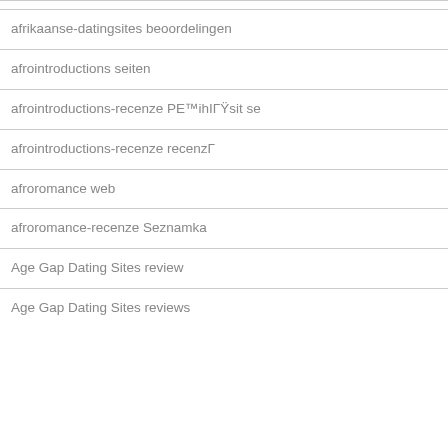afrikaanse-datingsites beoordelingen
afrointroductions seiten
afrointroductions-recenze PE™ihIГŸsit se
afrointroductions-recenze recenzГ
afroromance web
afroromance-recenze Seznamka
Age Gap Dating Sites review
Age Gap Dating Sites reviews